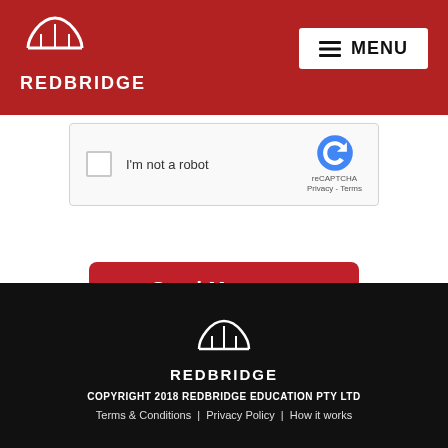REDBRIDGE | MENU
[Figure (screenshot): reCAPTCHA widget with checkbox labeled I'm not a robot]
[Figure (other): Send Message button (red rounded rectangle)]
[Figure (other): Social media icons: Facebook (f), Twitter (bird), LinkedIn (in)]
REDBRIDGE | COPYRIGHT 2018 REDBRIDGE EDUCATION PTY LTD | Terms & Conditions | Privacy Policy | How it works